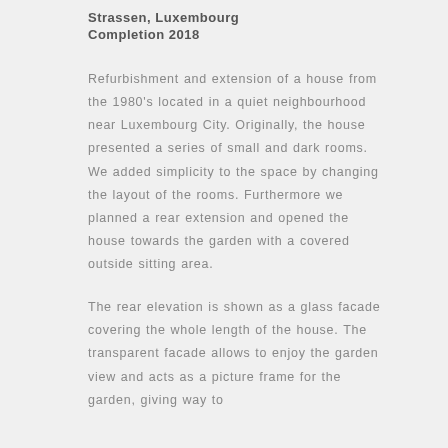Strassen, Luxembourg
Completion 2018
Refurbishment and extension of a house from the 1980's located in a quiet neighbourhood near Luxembourg City. Originally, the house presented a series of small and dark rooms. We added simplicity to the space by changing the layout of the rooms. Furthermore we planned a rear extension and opened the house towards the garden with a covered outside sitting area.
The rear elevation is shown as a glass facade covering the whole length of the house. The transparent facade allows to enjoy the garden view and acts as a picture frame for the garden, giving way to